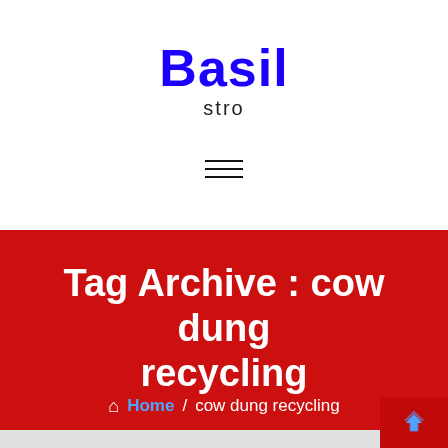Basil
stro
[Figure (other): Hamburger menu icon — three horizontal lines]
Tag Archive : cow dung recycling
Home / cow dung recycling